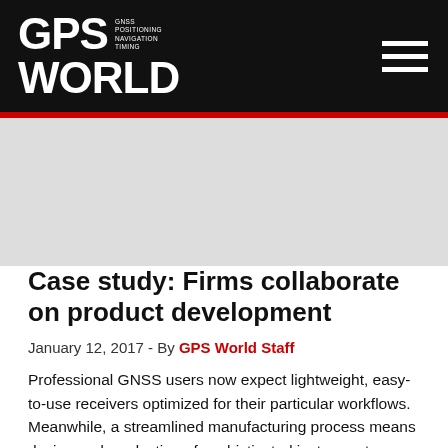GPS WORLD | GNSS POSITIONING NAVIGATION TIMING
[Figure (other): Gray placeholder banner area below the header navigation bar]
Case study: Firms collaborate on product development
January 12, 2017 - By GPS World Staff
Professional GNSS users now expect lightweight, easy-to-use receivers optimized for their particular workflows. Meanwhile, a streamlined manufacturing process means design and production of sophisticated instruments now takes months rather than years, and relies on global teams of networked specialists.